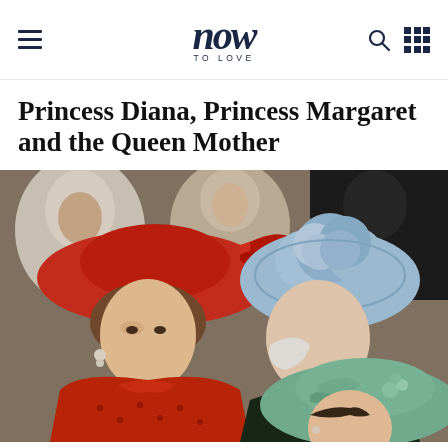now TO LOVE
Princess Diana, Princess Margaret and the Queen Mother
[Figure (photo): Photograph showing Princess Diana in a red wide-brimmed hat and red floral dress in the foreground left, the Queen Mother in a blue feathered hat and dark coat in the center-right, and Princess Margaret in a mint green hat at the bottom right, at what appears to be a public outdoor event with other attendees visible in the background.]